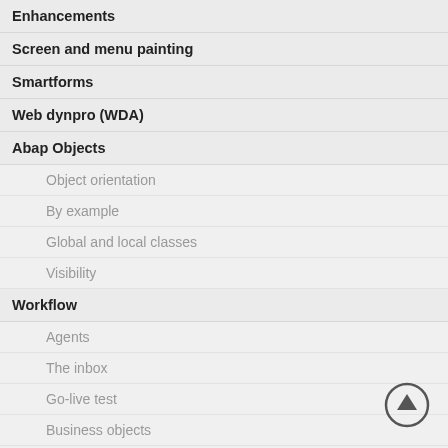Enhancements
Screen and menu painting
Smartforms
Web dynpro (WDA)
Abap Objects
Object orientation
By example
Global and local classes
Visibility
Workflow
Agents
The inbox
Go-live test
Business objects
Tasks and flows
Coding examples
Trouble shooting
Debugging
eCatt test tool